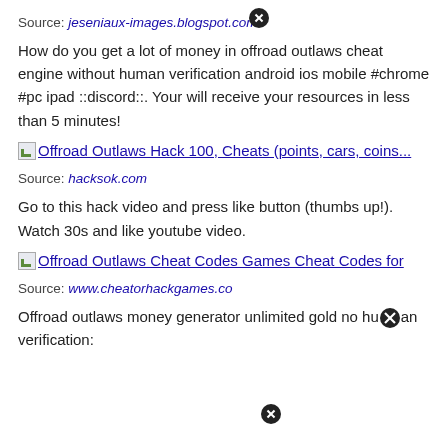Source: jeseniaux-images.blogspot.com
How do you get a lot of money in offroad outlaws cheat engine without human verification android ios mobile #chrome #pc ipad ::discord::. Your will receive your resources in less than 5 minutes!
[Figure (other): Image link thumbnail with text: Offroad Outlaws Hack 100, Cheats (points, cars, coins...]
Source: hacksok.com
Go to this hack video and press like button (thumbs up!). Watch 30s and like youtube video.
[Figure (other): Image link thumbnail with text: Offroad Outlaws Cheat Codes Games Cheat Codes for]
Source: www.cheatorhackgames.co
Offroad outlaws money generator unlimited gold no human verification: